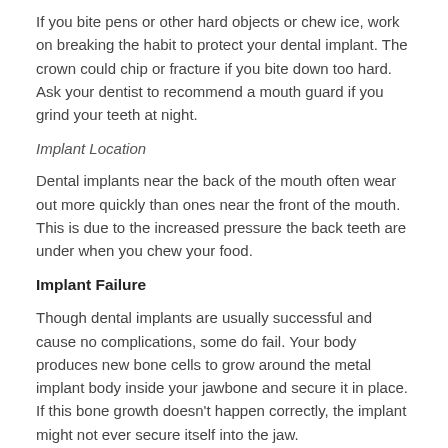If you bite pens or other hard objects or chew ice, work on breaking the habit to protect your dental implant. The crown could chip or fracture if you bite down too hard. Ask your dentist to recommend a mouth guard if you grind your teeth at night.
Implant Location
Dental implants near the back of the mouth often wear out more quickly than ones near the front of the mouth. This is due to the increased pressure the back teeth are under when you chew your food.
Implant Failure
Though dental implants are usually successful and cause no complications, some do fail. Your body produces new bone cells to grow around the metal implant body inside your jawbone and secure it in place. If this bone growth doesn't happen correctly, the implant might not ever secure itself into the jaw.
Failing implants can cause pain, swelling, and infection in your gums or jaw. Your implant might feel moveable or loose if it's not securely attached to your jawbone.
See your dentist as soon as possible if you experience any symptoms of implant failure. Some failing implants can be removed and replaced.